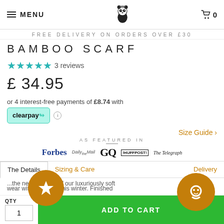MENU | [panda logo] | cart 0
FREE DELIVERY ON ORDERS OVER £30
BAMBOO SCARF
★★★★★ 3 reviews
£ 34.95
or 4 interest-free payments of £8.74 with clearpay
Size Guide >
AS FEATURED IN
[Figure (logo): Forbes, Daily Mail, GQ, HUFFPOST, The Telegraph logos]
The Details | Sizing & Care | Delivery
QTY
1
ADD TO CART
...the neutral tones of our luxuriously soft...wear with any outfit this winter. Finished...